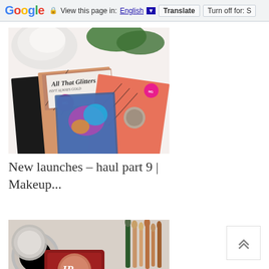Google  View this page in: English [▼]  Translate  Turn off for: S
[Figure (photo): Makeup eyeshadow palettes from a brand with 'All That Glitters' text, arranged on a white floral background with rose and green leaves]
New launches – haul part 9 | Makeup...
[Figure (photo): Makeup brushes and cosmetic products including a compact with JB logo, arranged on a light surface]